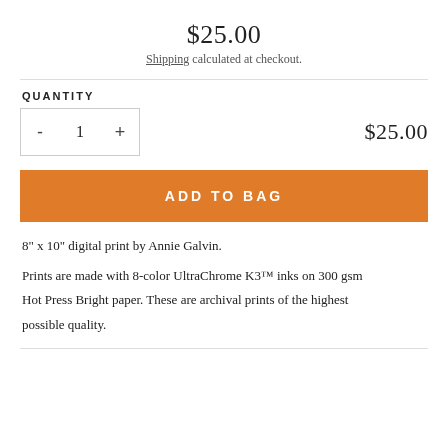$25.00
Shipping calculated at checkout.
QUANTITY
- 1 +   $25.00
ADD TO BAG
8" x 10" digital print by Annie Galvin.
Prints are made with 8-color UltraChrome K3™ inks on 300 gsm Hot Press Bright paper. These are archival prints of the highest possible quality.